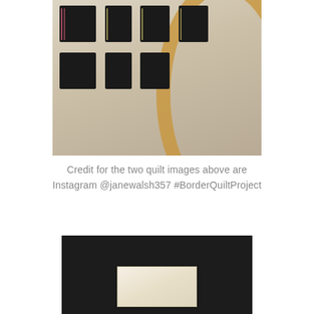[Figure (photo): Close-up photo of a quilt in an embroidery hoop, showing dark fabric patches with frayed edges stitched with pink and yellow thread onto a white/cream fabric background. A wooden embroidery hoop is visible on the right side.]
Credit for the two quilt images above are Instagram @janewalsh357 #BorderQuiltProject
[Figure (photo): Photo of a small cream/white fabric swatch with frayed edges placed on a dark black background.]